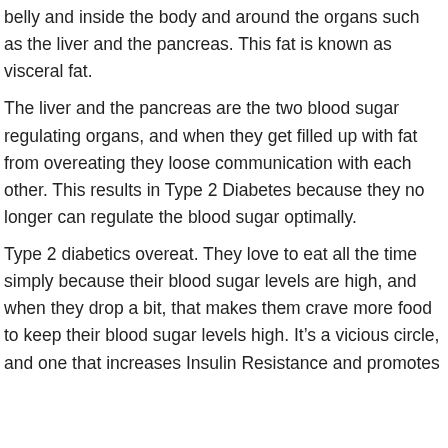belly and inside the body and around the organs such as the liver and the pancreas. This fat is known as visceral fat.
The liver and the pancreas are the two blood sugar regulating organs, and when they get filled up with fat from overeating they loose communication with each other. This results in Type 2 Diabetes because they no longer can regulate the blood sugar optimally.
Type 2 diabetics overeat. They love to eat all the time simply because their blood sugar levels are high, and when they drop a bit, that makes them crave more food to keep their blood sugar levels high. It’s a vicious circle, and one that increases Insulin Resistance and promotes